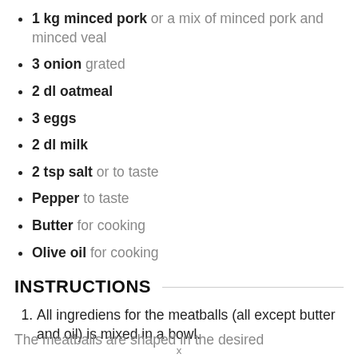1 kg minced pork or a mix of minced pork and minced veal
3 onion grated
2 dl oatmeal
3 eggs
2 dl milk
2 tsp salt or to taste
Pepper to taste
Butter for cooking
Olive oil for cooking
INSTRUCTIONS
All ingrediens for the meatballs (all except butter and oil) is mixed in a bowl.
The meatballs are shaped in the desired...